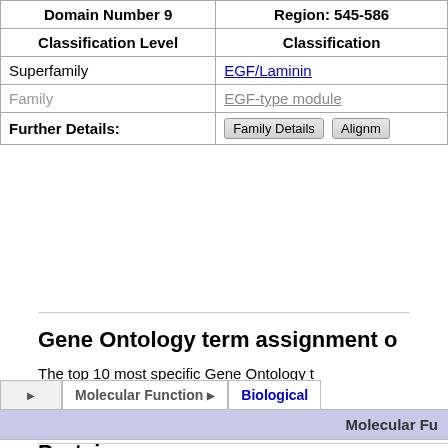| Classification Level | Classification |
| --- | --- |
| Domain Number 9 | Region: 545-586 |
| Classification Level | Classification |
| Superfamily | EGF/Laminin |
| Family | EGF-type module |
| Further Details: | Family Details  Alignm... |
Gene Ontology term assignment o
The top 10 most specific Gene Ontology t
(show help)
|  | Molecular Function | Biological |
| --- | --- | --- |
Molecular Fu
Protein sequence